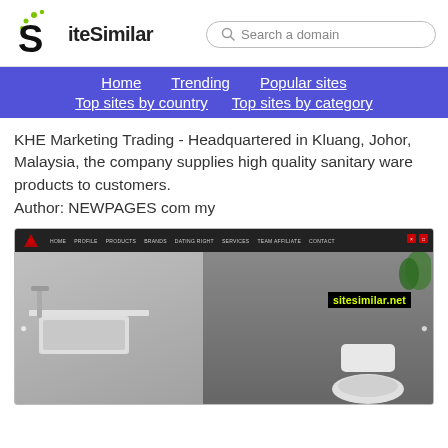SiteSimilar — Search a domain
Home  Trending  Popular sites  Top sites by country  Top sites by category
KHE Marketing Trading - Headquartered in Kluang, Johor, Malaysia, the company supplies high quality sanitary ware products to customers.
Author: NEWPAGES com my
[Figure (screenshot): Screenshot of KHE Marketing Trading website showing a dark navigation bar with logo and menu items (HOME, PROFILE, PRODUCTS, BRANDS, DATING RIGHT, SERVICES, TEAM AFFILIATE, CONTACT), and a background image of a modern bathroom with a wall-mounted sink and toilet. A 'sitesimilar.net' watermark is visible.]